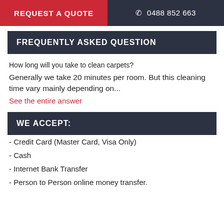REQUEST A QUOTE    ☎ 0488 852 663
FREQUENTLY ASKED QUESTION
How long will you take to clean carpets?
Generally we take 20 minutes per room. But this cleaning time vary mainly depending on...
See the entire answer
WE ACCEPT:
- Credit Card (Master Card, Visa Only)
- Cash
- Internet Bank Transfer
- Person to Person online money transfer.